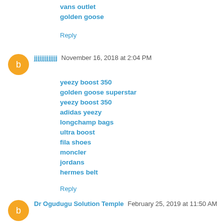vans outlet
golden goose
Reply
jjjjjjjjjjjjj  November 16, 2018 at 2:04 PM
yeezy boost 350
golden goose superstar
yeezy boost 350
adidas yeezy
longchamp bags
ultra boost
fila shoes
moncler
jordans
hermes belt
Reply
Dr Ogudugu Solution Temple  February 25, 2019 at 11:50 AM